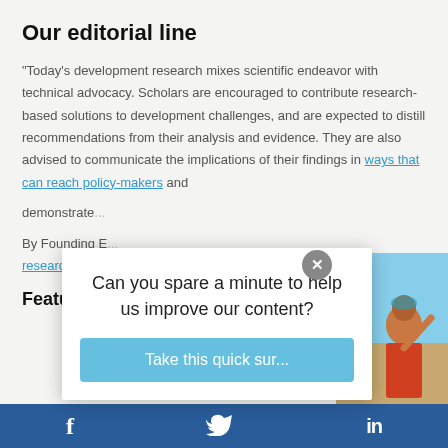Our editorial line
"Today's development research mixes scientific endeavor with technical advocacy. Scholars are encouraged to contribute research-based solutions to development challenges, and are expected to distill recommendations from their analysis and evidence. They are also advised to communicate the implications of their findings in ways that can reach policy-makers and demonstrate...
By Founding E... research to...
Can you spare a minute to help us improve our content?
Take this quick sur...
Feature...
[Figure (photo): Photo of a woman in traditional Indian dress raising her hand, visible on the right side of the page behind a modal dialog]
f  [Twitter bird icon]  in